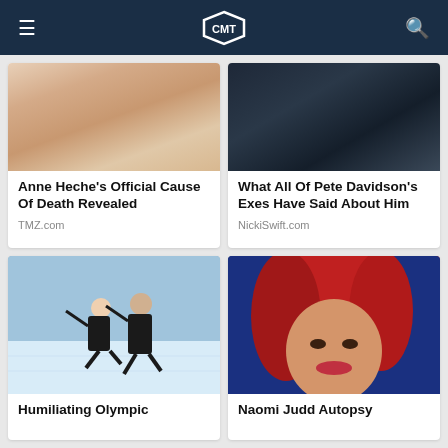CMT
[Figure (photo): Close-up of Anne Heche's face, blonde hair, wearing earrings]
Anne Heche's Official Cause Of Death Revealed
TMZ.com
[Figure (photo): Close-up of Pete Davidson's face and neck]
What All Of Pete Davidson's Exes Have Said About Him
NickiSwift.com
[Figure (photo): Two figure skaters in black outfits performing on ice]
Humiliating Olympic
[Figure (photo): Naomi Judd with bright red hair looking directly at camera]
Naomi Judd Autopsy